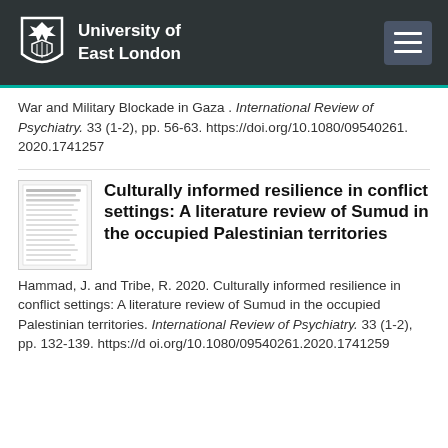University of East London
War and Military Blockade in Gaza . International Review of Psychiatry. 33 (1-2), pp. 56-63. https://doi.org/10.1080/09540261.2020.1741257
[Figure (other): Thumbnail image of a document page]
Culturally informed resilience in conflict settings: A literature review of Sumud in the occupied Palestinian territories
Hammad, J. and Tribe, R. 2020. Culturally informed resilience in conflict settings: A literature review of Sumud in the occupied Palestinian territories. International Review of Psychiatry. 33 (1-2), pp. 132-139. https://doi.org/10.1080/09540261.2020.1741259